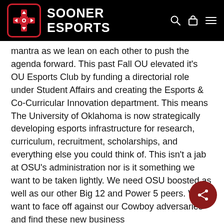SOONER ESPORTS
mantra as we lean on each other to push the agenda forward. This past Fall OU elevated it’s OU Esports Club by funding a directorial role under Student Affairs and creating the Esports & Co-Curricular Innovation department. This means The University of Oklahoma is now strategically developing esports infrastructure for research, curriculum, recruitment, scholarships, and everything else you could think of. This isn’t a jab at OSU’s administration nor is it something we want to be taken lightly. We need OSU boosted as well as our other Big 12 and Power 5 peers. We want to face off against our Cowboy adversaries and find these new business